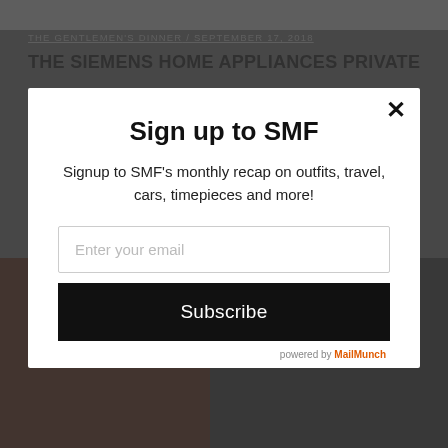[Figure (screenshot): Background webpage showing a blog post with title 'THE SIEMENS HOME APPLIANCES PRIVATE' by 'THE GENTLEMEN'S DINNER' dated September 17, 2018, partially obscured by a modal popup. Bottom portion shows dark photos of men. A modal signup overlay is in the foreground.]
THE GENTLEMEN'S DINNER / SEPTEMBER 17, 2018
THE SIEMENS HOME APPLIANCES PRIVATE
Sign up to SMF
Signup to SMF's monthly recap on outfits, travel, cars, timepieces and more!
Enter your email
Subscribe
powered by MailMunch